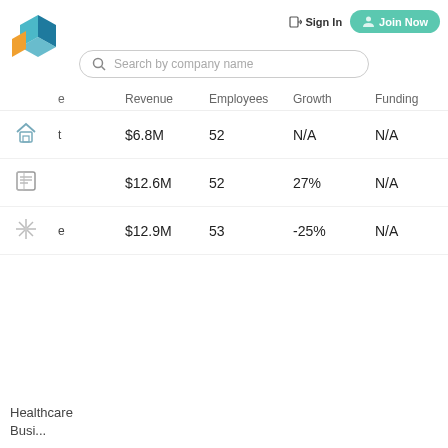[Figure (logo): Company logo - colorful geometric cube shape with orange accent]
Sign In  Join Now
[Figure (screenshot): Search bar with placeholder text: Search by company name]
|  | e | Revenue | Employees | Growth | Funding |
| --- | --- | --- | --- | --- | --- |
| [home icon] | t | $6.8M | 52 | N/A | N/A |
| [news icon] |  | $12.6M | 52 | 27% | N/A |
| [snowflake icon] | e | $12.9M | 53 | -25% | N/A |
Healthcare
Busi...